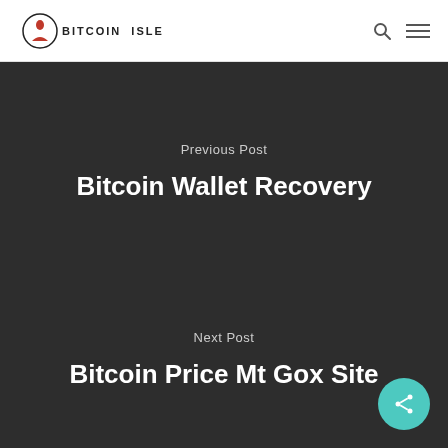BITCOIN ISLE
Previous Post
Bitcoin Wallet Recovery
Next Post
Bitcoin Price Mt Gox Site